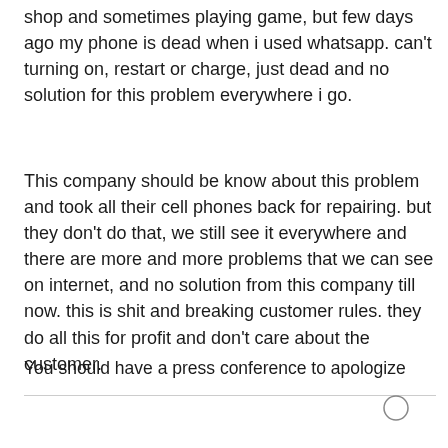shop and sometimes playing game, but few days ago my phone is dead when i used whatsapp. can't turning on, restart or charge, just dead and no solution for this problem everywhere i go.
This company should be know about this problem and took all their cell phones back for repairing. but they don't do that, we still see it everywhere and there are more and more problems that we can see on internet, and no solution from this company till now. this is shit and breaking customer rules. they do all this for profit and don't care about the customer.
You should have a press conference to apologize and compensate for the customer's loss,we wait for that.